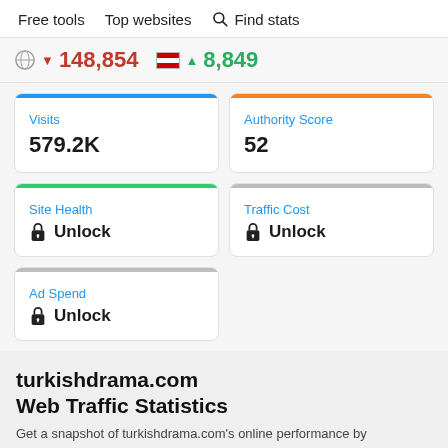Free tools   Top websites   Find stats
148,854 (down) | 8,849 (up)
Visits
579.2K
Authority Score
52
Site Health
Unlock
Traffic Cost
Unlock
Ad Spend
Unlock
turkishdrama.com
Web Traffic Statistics
Get a snapshot of turkishdrama.com's online performance by